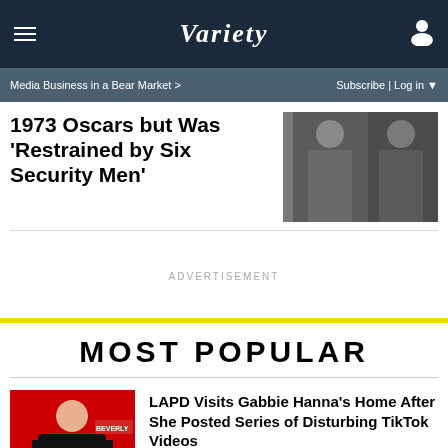VARIETY
Media Business in a Bear Market > | Subscribe | Log in
1973 Oscars but Was ‘Restrained by Six Security Men’
[Figure (photo): Black and white photo of two people side by side]
ADVERTISEMENT
MOST POPULAR
[Figure (photo): Photo of Gabbie Hanna at a red carpet event, wearing black off-shoulder dress]
LAPD Visits Gabbie Hanna’s Home After She Posted Series of Disturbing TikTok Videos